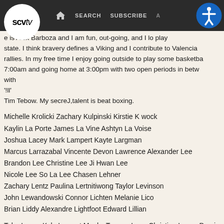SCVTV | SEARCH | SUBSCRIBE | ADVERTISE
e is Alex Barboza and I am fun, out-going, and I lo play state. I think bravery defines a Viking and I contribute to Valencia rallies. In my free time I enjoy going outside to play some basketba 7:00am and going home at 3:00pm with two open periods in betw with '!ll' Tim Tebow. My secreJ,talent is beat boxing.
Michelle Krolicki Zachary Kulpinski Kirstie K wock
Kaylin La Porte James La Vine Ashtyn La Voise
Joshua Lacey Mark Lampert Kayte Largman
Marcus Larrazabal Vincente Devon Lawrence Alexander Lee
Brandon Lee Christine Lee Ji Hwan Lee
Nicole Lee So La Lee Chasen Lehner
Zachary Lentz Paulina Lertnitiwong Taylor Levinson
John Lewandowski Connor Lichten Melanie Lico
Brian Liddy Alexandre Lightfoot Edward Lillian
Tyler Logan Kyle Lamont Meeks Tamara Long Christian Lopes Domin
Camilla Maalouf Rodcoe Ace Magnaye Ryan Mahoney Jarro Malaba Brown
Michael Mookie Manalili Reyne Manzano Gregory March Joseph Ma